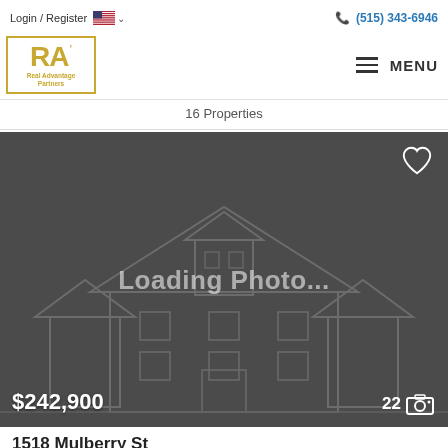Login / Register   (515) 343-6946
[Figure (logo): Real Advantage Partners logo — gold RA letters inside a gold border box with text 'Real Advantage Partners' below]
MENU
16 Properties
[Figure (photo): Property listing card showing a loading photo placeholder with a house silhouette outline on dark gray background. Price shown as $242,900 bottom left and photo count 22 bottom right.]
1518 Mulberry St